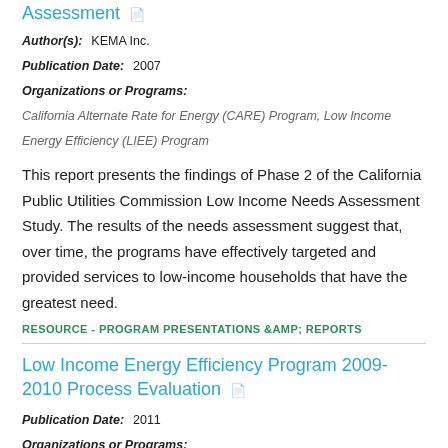Assessment
Author(s): KEMA Inc.
Publication Date: 2007
Organizations or Programs:
California Alternate Rate for Energy (CARE) Program, Low Income Energy Efficiency (LIEE) Program
This report presents the findings of Phase 2 of the California Public Utilities Commission Low Income Needs Assessment Study. The results of the needs assessment suggest that, over time, the programs have effectively targeted and provided services to low-income households that have the greatest need.
RESOURCE - PROGRAM PRESENTATIONS &AMP; REPORTS
Low Income Energy Efficiency Program 2009-2010 Process Evaluation
Publication Date: 2011
Organizations or Programs:
Low Income Energy Efficiency (LIEE) Program